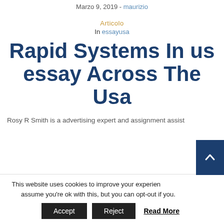Marzo 9, 2019 - maurizio
Articolo
In essayusa
Rapid Systems In us essay Across The Usa
Rosy R Smith is a advertising expert and assignment assist
This website uses cookies to improve your experience. We'll assume you're ok with this, but you can opt-out if you wish.